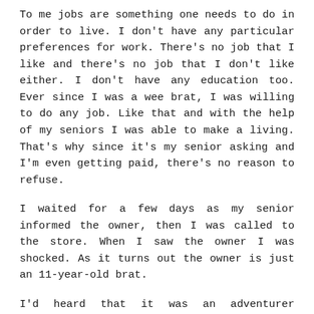To me jobs are something one needs to do in order to live. I don't have any particular preferences for work. There's no job that I like and there's no job that I don't like either. I don't have any education too. Ever since I was a wee brat, I was willing to do any job. Like that and with the help of my seniors I was able to make a living. That's why since it's my senior asking and I'm even getting paid, there's no reason to refuse.
I waited for a few days as my senior informed the owner, then I was called to the store. When I saw the owner I was shocked. As it turns out the owner is just an 11-year-old brat.
I'd heard that it was an adventurer acknowledged by my senior, so I thought for sure some strong looking guy would appear. Apparently, I couldn't be more mistaken.